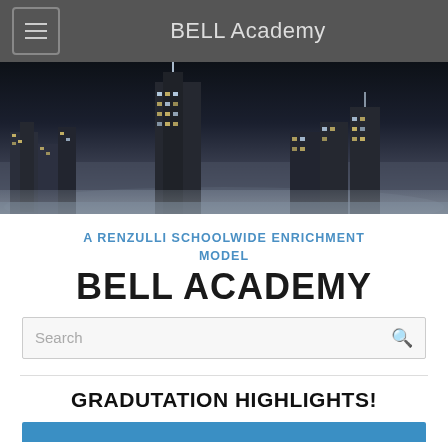BELL Academy
[Figure (photo): Black and white city skyline at night with illuminated skyscrapers and towers]
A RENZULLI SCHOOLWIDE ENRICHMENT MODEL
BELL ACADEMY
Search
GRADUTATION HIGHLIGHTS!